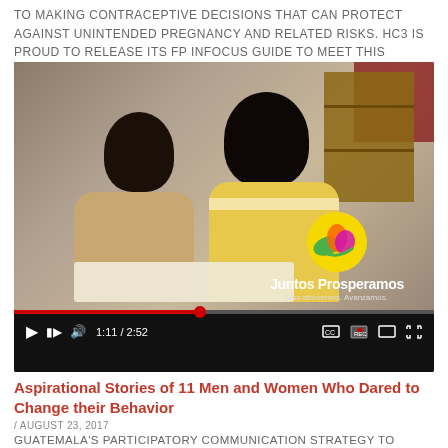TO MAKING CONTRACEPTIVE DECISIONS THAT CAN PROTECT AGAINST UNINTENDED PREGNANCY AND RELATED RISKS. HC3 IS PROUD TO RELEASE ITS FP INFOCUS GUIDE TO MEET THIS CHALLENGE.
[Figure (screenshot): Embedded YouTube-style video player showing two young girls lying down and writing in books, with a wooden shelf visible on the right. Video controls show progress at 1:11 / 2:52. Juntos Prosperamos logo visible in bottom-right of video.]
Aspirational Stories of 11 Men and Women Who Dared to Change their Behavior
/ AUGUST 23, 2017
GUATEMALA'S PARTICIPATORY COMMUNICATION STRATEGY TO